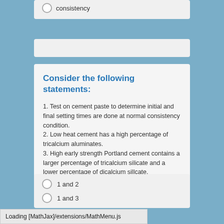consistency
Consider the following statements:
1. Test on cement paste to determine initial and final setting times are done at normal consistency condition.
2. Low heat cement has a high percentage of tricalcium aluminates.
3. High early strength Portland cement contains a larger percentage of tricalcium silicate and a lower percentage of dicalcium sillcate.
Which of these statements are correct?
1 and 2
1 and 3
Loading [MathJax]/extensions/MathMenu.js